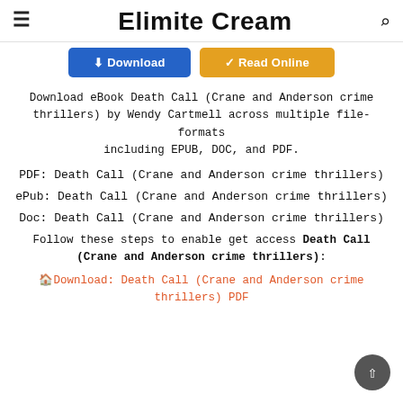Elimite Cream
[Figure (other): Two buttons: blue Download button and yellow/gold Read Online button]
Download eBook Death Call (Crane and Anderson crime thrillers) by Wendy Cartmell across multiple file-formats including EPUB, DOC, and PDF.
PDF: Death Call (Crane and Anderson crime thrillers)
ePub: Death Call (Crane and Anderson crime thrillers)
Doc: Death Call (Crane and Anderson crime thrillers)
Follow these steps to enable get access Death Call (Crane and Anderson crime thrillers):
🏠Download: Death Call (Crane and Anderson crime thrillers) PDF